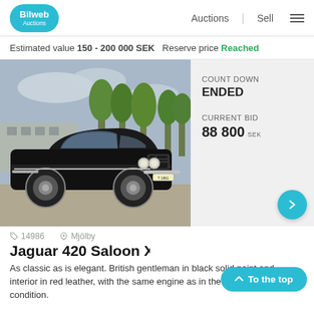Bilweb Auctions | Auctions | Sell
Estimated value 150 - 200 000 SEK  Reserve price Reached
[Figure (photo): Classic black Jaguar 420 Saloon XK 4.2 photographed outdoors on a road, trees and buildings in background]
COUNT DOWN
ENDED

CURRENT BID
88 800 SEK
14986   Mjölby
Jaguar 420 Saloon XK 4.2 — 196…
As classic as is elegant. British gentleman in black solid paint and interior in red leather, with the same engine as in the E-type. Very nice condition.